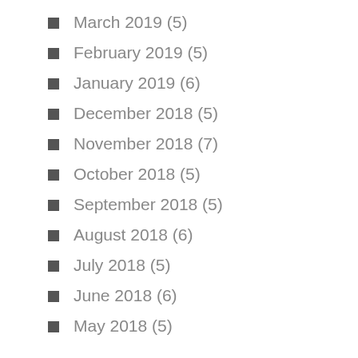March 2019 (5)
February 2019 (5)
January 2019 (6)
December 2018 (5)
November 2018 (7)
October 2018 (5)
September 2018 (5)
August 2018 (6)
July 2018 (5)
June 2018 (6)
May 2018 (5)